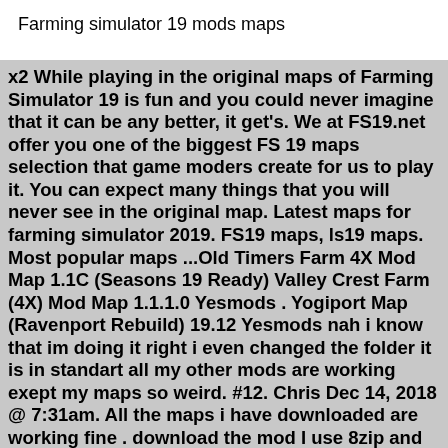Farming simulator 19 mods maps
x2 While playing in the original maps of Farming Simulator 19 is fun and you could never imagine that it can be any better, it get's. We at FS19.net offer you one of the biggest FS 19 maps selection that game moders create for us to play it. You can expect many things that you will never see in the original map. Latest maps for farming simulator 2019. FS19 maps, ls19 maps. Most popular maps ...Old Timers Farm 4X Mod Map 1.1C (Seasons 19 Ready) Valley Crest Farm (4X) Mod Map 1.1.1.0 Yesmods . Yogiport Map (Ravenport Rebuild) 19.12 Yesmods nah i know that im doing it right i even changed the folder it is in standart all my other mods are working exept my maps so weird. #12. Chris Dec 14, 2018 @ 7:31am. All the maps i have downloaded are working fine . download the mod I use 8zip and unzip it to the mod folder andf presto its their and working. #13.Jan 08